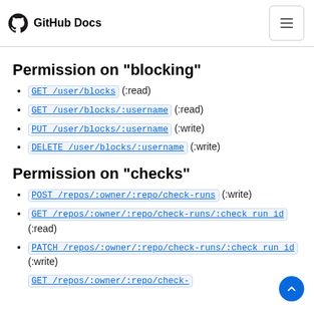GitHub Docs
Permission on "blocking"
GET /user/blocks (:read)
GET /user/blocks/:username (:read)
PUT /user/blocks/:username (:write)
DELETE /user/blocks/:username (:write)
Permission on "checks"
POST /repos/:owner/:repo/check-runs (:write)
GET /repos/:owner/:repo/check-runs/:check_run_id (:read)
PATCH /repos/:owner/:repo/check-runs/:check_run_id (:write)
GET /repos/:owner/:repo/check-...